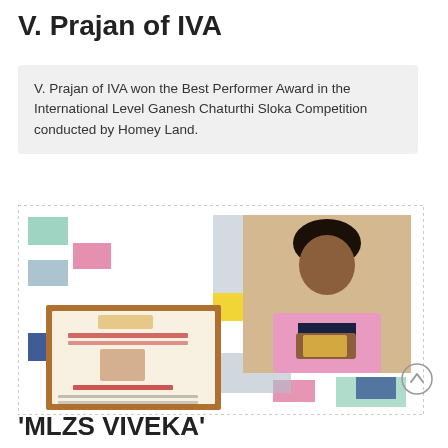V. Prajan of IVA
V. Prajan of IVA won the Best Performer Award in the International Level Ganesh Chaturthi Sloka Competition conducted by Homey Land.
[Figure (photo): Collage image showing a certificate titled 'Best Performer Certificate' with 'V. Prajan' written on it, alongside a photo of a young student in a pink blazer holding an award, surrounded by decorative colored squares on a dotted background.]
'MLZS VIVEKA'